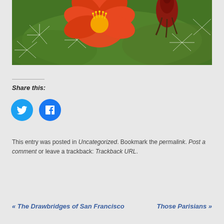[Figure (photo): Close-up photo of a cactus with bright orange-red blooming flower and a dark red bud, green spiny cactus background]
Share this:
[Figure (infographic): Two circular social sharing buttons: Twitter (blue with bird icon) and Facebook (blue with f icon)]
This entry was posted in Uncategorized. Bookmark the permalink. Post a comment or leave a trackback: Trackback URL.
« The Drawbridges of San Francisco   Those Parisians »